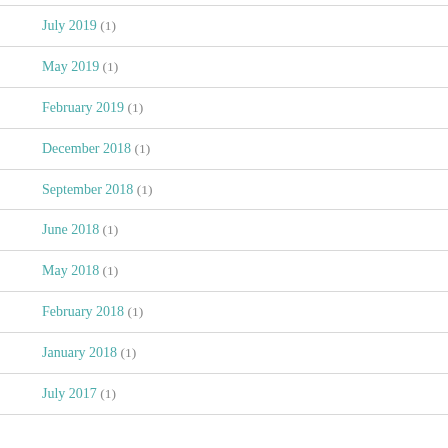July 2019 (1)
May 2019 (1)
February 2019 (1)
December 2018 (1)
September 2018 (1)
June 2018 (1)
May 2018 (1)
February 2018 (1)
January 2018 (1)
July 2017 (1)